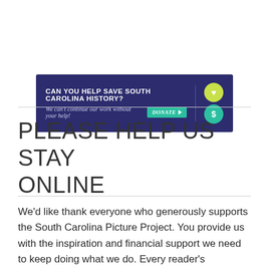[Figure (infographic): Dark blue banner ad reading 'CAN YOU HELP SAVE SOUTH CAROLINA HISTORY?' with italic subtitle 'We can't continue our work without your help!' and a teal DONATE button with play arrow. Right side has a vertical divider and two circular icons (heart and dollar sign) in green/teal.]
PLEASE HELP US STAY ONLINE
We'd like thank everyone who generously supports the South Carolina Picture Project. You provide us with the inspiration and financial support we need to keep doing what we do. Every reader's contribution